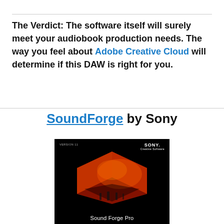The Verdict: The software itself will surely meet your audiobook production needs. The way you feel about Adobe Creative Cloud will determine if this DAW is right for you.
SoundForge by Sony
[Figure (photo): Sound Forge Pro software box art by Sony — black background with glowing orange/red geometric cube shape. Text reads 'Sound Forge Pro' at bottom, 'SONY' logo top right, 'VERSION 11' top left.]